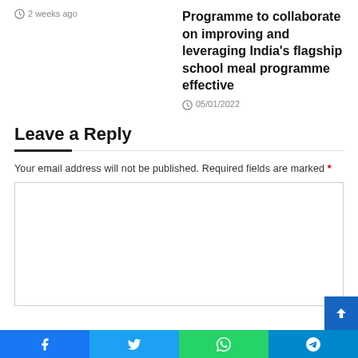2 weeks ago
Programme to collaborate on improving and leveraging India's flagship school meal programme effective
05/01/2022
Leave a Reply
Your email address will not be published. Required fields are marked *